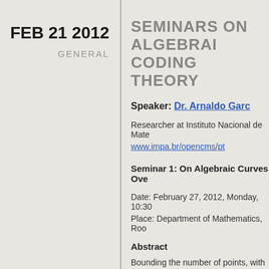FEB 21 2012
GENERAL
SEMINARS ON ALGEBRAIC CODING THEORY
Speaker: Dr. Arnaldo Garcia
Researcher at Instituto Nacional de Matematica
www.impa.br/opencms/pt
Seminar 1: On Algebraic Curves Over
Date: February 27, 2012, Monday, 10:30
Place: Department of Mathematics, Room
Abstract
Bounding the number of points, with coordinates in a finite field, on algebraic curves has received much attention, especially after the discovery of towers of algebraic curves. This talk will be a survey on maximal curves; i.e., the ones attaining Hasse-Weil bound; the main theme of this